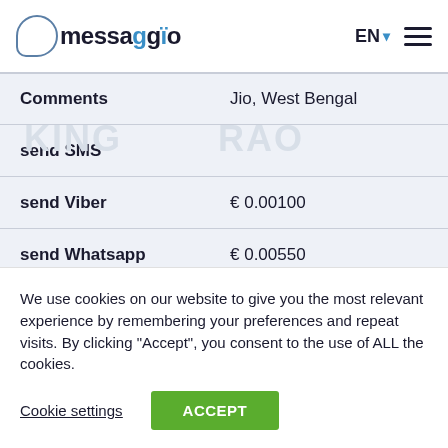messaggio — EN navigation header
| Field | Value |
| --- | --- |
| Comments | Jio, West Bengal |
| send SMS |  |
| send Viber | € 0.00100 |
| send Whatsapp | € 0.00550 |
We use cookies on our website to give you the most relevant experience by remembering your preferences and repeat visits. By clicking "Accept", you consent to the use of ALL the cookies.
Cookie settings   ACCEPT